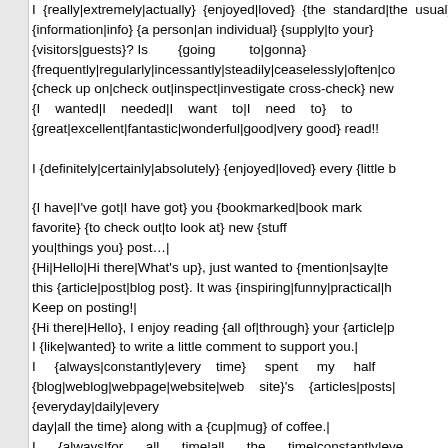I {really|extremely|actually} {enjoyed|loved} {the standard|the usual} {information|info} {a person|an individual} {supply|to your} {visitors|guests}? Is {going to|gonna} {frequently|regularly|incessantly|steadily|ceaselessly|often|co {check up on|check out|inspect|investigate cross-check} new {I wanted|I needed|I want to|I need to} to {great|excellent|fantastic|wonderful|good|very good} read!!

I {definitely|certainly|absolutely} {enjoyed|loved} every {little b

{I have|I've got|I have got} you {bookmarked|book mark favorite} {to check out|to look at} new {stuff you|things you} post…|
{Hi|Hello|Hi there|What's up}, just wanted to {mention|say|te this {article|post|blog post}. It was {inspiring|funny|practical|h Keep on posting!|
{Hi there|Hello}, I enjoy reading {all of|through} your {article|p I {like|wanted} to write a little comment to support you.|
I {always|constantly|every time} spent my half {blog|weblog|webpage|website|web site}'s {articles|posts| {everyday|daily|every day|all the time} along with a {cup|mug} of coffee.|
I {always|for all time|all the time|constantly|eve {blog|weblog|webpage|website|web site} post {friends|associates|contacts}, {because|since|as|for the reas {then|after that|next|afterward} my {friends|links|contacts} wi My {coder|programmer|developer} is trying to {persuade|co from PHP.